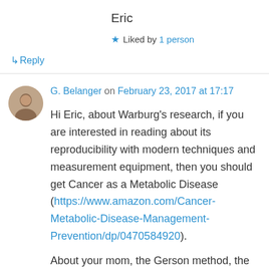Eric
★ Liked by 1 person
↳ Reply
G. Belanger on February 23, 2017 at 17:17
Hi Eric, about Warburg's research, if you are interested in reading about its reproducibility with modern techniques and measurement equipment, then you should get Cancer as a Metabolic Disease (https://www.amazon.com/Cancer-Metabolic-Disease-Management-Prevention/dp/0470584920).
About your mom, the Gerson method, the fact